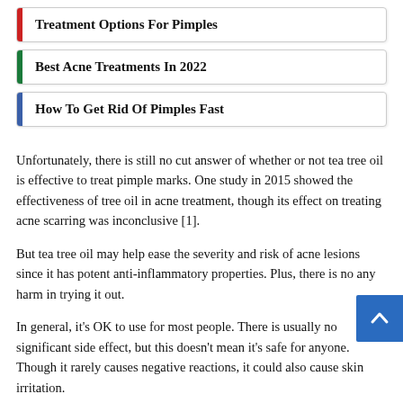Treatment Options For Pimples
Best Acne Treatments In 2022
How To Get Rid Of Pimples Fast
Unfortunately, there is still no cut answer of whether or not tea tree oil is effective to treat pimple marks. One study in 2015 showed the effectiveness of tree oil in acne treatment, though its effect on treating acne scarring was inconclusive [1].
But tea tree oil may help ease the severity and risk of acne lesions since it has potent anti-inflammatory properties. Plus, there is no any harm in trying it out.
In general, it's OK to use for most people. There is usually no significant side effect, but this doesn't mean it's safe for anyone. Though it rarely causes negative reactions, it could also cause skin irritation.